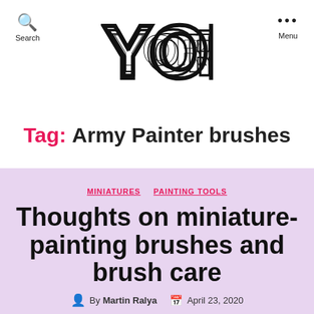YORE (logo)
Tag: Army Painter brushes
MINIATURES   PAINTING TOOLS
Thoughts on miniature-painting brushes and brush care
By Martin Ralya   April 23, 2020